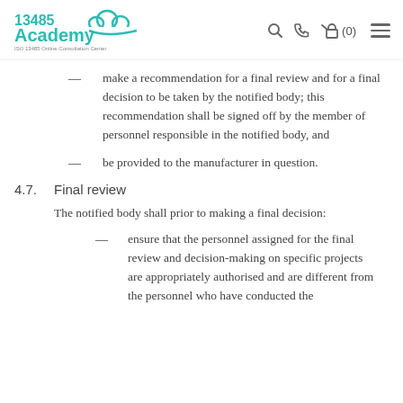13485 Academy — ISO 13485 Online Consultation Center
make a recommendation for a final review and for a final decision to be taken by the notified body; this recommendation shall be signed off by the member of personnel responsible in the notified body, and
be provided to the manufacturer in question.
4.7.  Final review
The notified body shall prior to making a final decision:
ensure that the personnel assigned for the final review and decision-making on specific projects are appropriately authorised and are different from the personnel who have conducted the